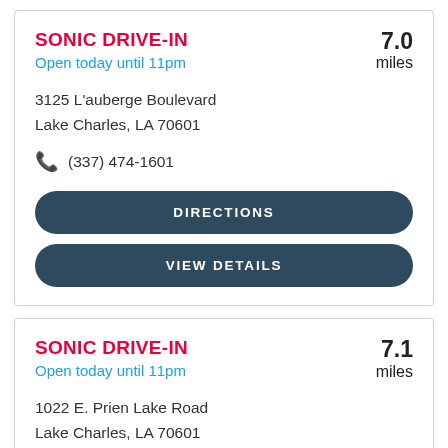SONIC DRIVE-IN
Open today until 11pm
7.0 miles
3125 L'auberge Boulevard
Lake Charles, LA 70601
(337) 474-1601
DIRECTIONS
VIEW DETAILS
SONIC DRIVE-IN
Open today until 11pm
7.1 miles
1022 E. Prien Lake Road
Lake Charles, LA 70601
(337) 477-5522